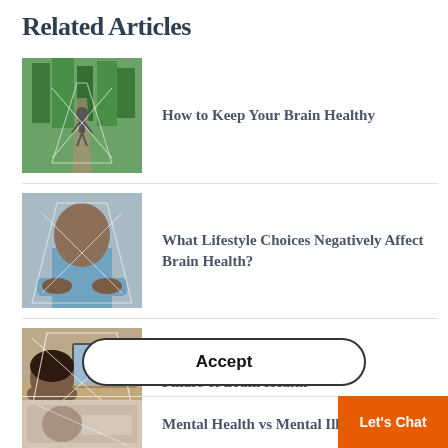Related Articles
How to Keep Your Brain Healthy
What Lifestyle Choices Negatively Affect Brain Health?
Pillars of Brain Health
Mental Health vs Mental Ill…